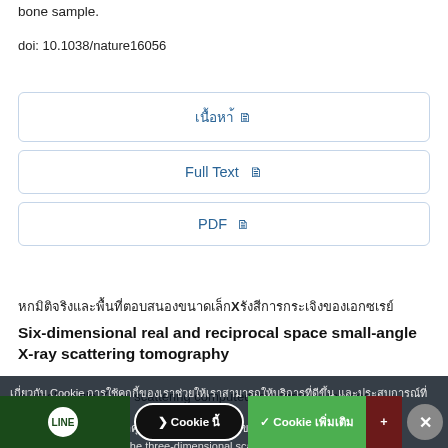bone sample.
doi: 10.1038/nature16056
เนื้อหาฉบับเต็ม
Full Text
PDF
หกมิติจริงและพื้นที่ตอบสนองขนาดเล็กX รังสีการกระเจิงของเอกซเรย์
Six-dimensional real and reciprocal space small-angle X-ray scattering tomography
A small-angle X-ray scattering computed tomography method
เกี่ยวกับ Cookie การใช้คุกกี้ของเราช่วยให้เราสามารถให้บริการที่ดีขึ้น และประสบการณ์ที่คุณจะได้รับ
analysed to reconstruct the three-dimensional scattering